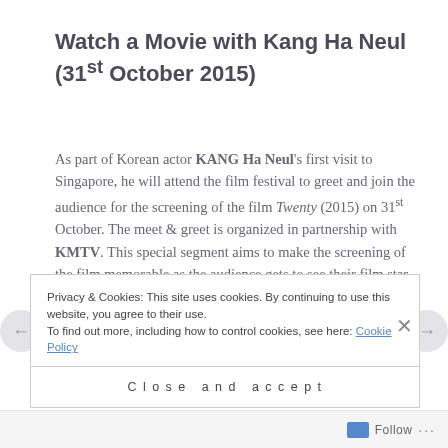Watch a Movie with Kang Ha Neul (31st October 2015)
As part of Korean actor KANG Ha Neul's first visit to Singapore, he will attend the film festival to greet and join the audience for the screening of the film Twenty (2015) on 31st October. The meet & greet is organized in partnership with KMTV. This special segment aims to make the screening of the film memorable as the audience gets to see their film star up close and a chance to promote interest in
Privacy & Cookies: This site uses cookies. By continuing to use this website, you agree to their use. To find out more, including how to control cookies, see here: Cookie Policy
Close and accept
Follow ...